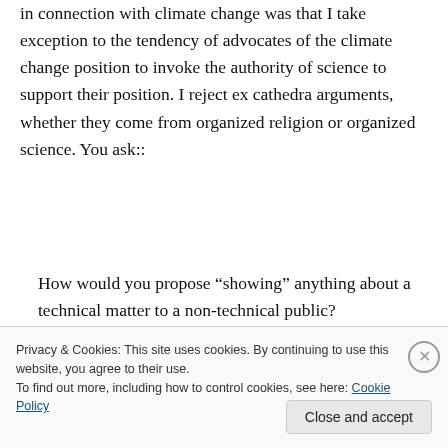in connection with climate change was that I take exception to the tendency of advocates of the climate change position to invoke the authority of science to support their position. I reject ex cathedra arguments, whether they come from organized religion or organized science. You ask::
How would you propose “showing” anything about a technical matter to a non-technical public?
Privacy & Cookies: This site uses cookies. By continuing to use this website, you agree to their use.
To find out more, including how to control cookies, see here: Cookie Policy